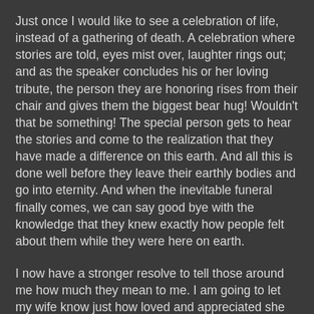Just once I would like to see a celebration of life, instead of a gathering of death. A celebration where stories are told, eyes mist over, laughter rings out; and as the speaker concludes his or her loving tribute, the person they are honoring rises from their chair and gives them the biggest bear hug! Wouldn't that be something! The special person gets to hear the stories and come to the realization that they have made a difference on this earth. And all this is done well before they leave their earthly bodies and go into eternity. And when the inevitable funeral finally comes, we can say good bye with the knowledge that they knew exactly how people felt about them while they were here on earth.
I now have a stronger resolve to tell those around me how much they mean to me. I am going to let my wife know just how loved and appreciated she is, not only by my words, but also by my actions. I am going to play Batman with my four year old more often, and in the middle of our romping, I am going to grab him, hug him tightly, and tell him how thankful I am that he is my son. I am going to sneak into my sleeping toddler's bedroom, place my lips on his chubby cheek, and thank God for the bundle of joy he has brought into my life